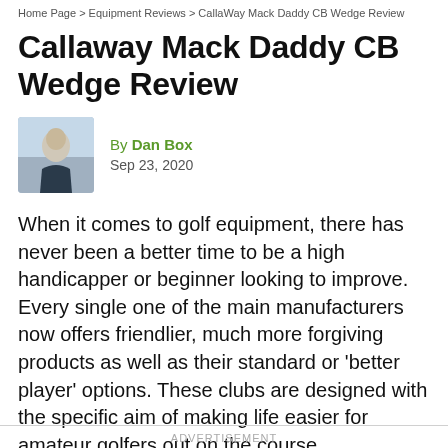Home Page > Equipment Reviews > CallaWay Mack Daddy CB Wedge Review
Callaway Mack Daddy CB Wedge Review
By Dan Box
Sep 23, 2020
When it comes to golf equipment, there has never been a better time to be a high handicapper or beginner looking to improve. Every single one of the main manufacturers now offers friendlier, much more forgiving products as well as their standard or 'better player' options. These clubs are designed with the specific aim of making life easier for amateur golfers out on the course.
ADVERTISEMENT